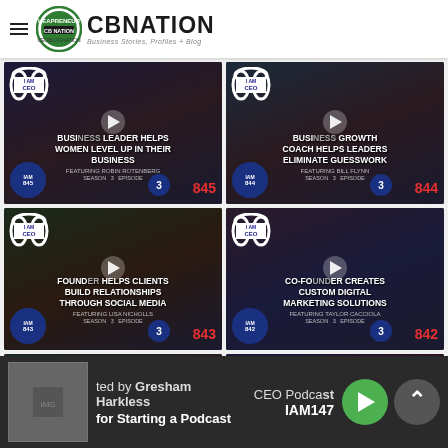[Figure (screenshot): CBNation website header with logo, hamburger menu, 'CBNATION' brand name and tagline 'Business Stories, Profiles + Blog']
[Figure (screenshot): IAM845 - Business Leader Helps Women Level Up In Their Business, Featuring Robin Rotenberg, Season 3 Episode 845]
[Figure (screenshot): IAM844 - Business Growth Coach Helps Leaders Eliminate Guesswork, Featuring Bill Flynn, Season 3 Episode 844]
[Figure (screenshot): IAM843 - Founder Helps Clients Build Relationships Through Social Media, Featuring Lisa Nicholls, Season 3 Episode 843]
[Figure (screenshot): IAM842 - Co-Founder Creates Custom Digital Marketing Solutions, Featuring Taylor Cacciola, Season 3 Episode 842]
[Figure (screenshot): IAM841 - Life Coach Helps People Realize Their Full Potential, Season 3 Episode 841]
[Figure (screenshot): IAM839 - Founder Uses Her Frame of Mind Coaching Process To Help Leaders, Season 3 Episode 839]
ted by Gresham Harkless for Starting a Podcast
CEO Podcast IAM147